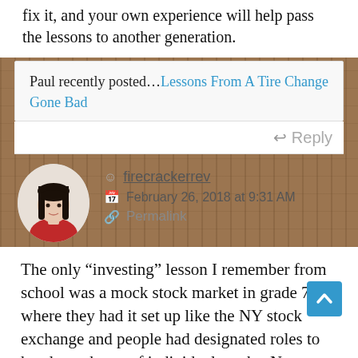fix it, and your own experience will help pass the lessons to another generation.
Paul recently posted...Lessons From A Tire Change Gone Bad
Reply
firecrackerrev
February 26, 2018 at 9:31 AM
Permalink
The only “investing” lesson I remember from school was a mock stock market in grade 7, where they had it set up like the NY stock exchange and people had designated roles to hand out shares of individual stocks. Not sure if that provided the right lesson. All I remember was kids running